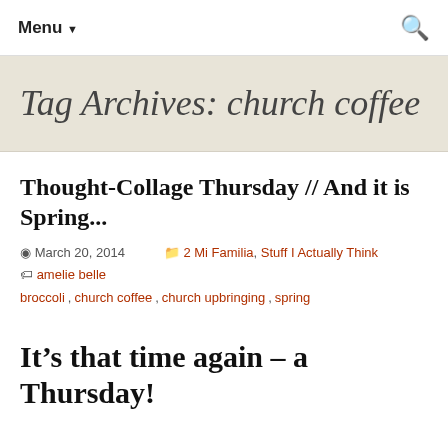Menu ▼  🔍
Tag Archives: church coffee
Thought-Collage Thursday // And it is Spring...
March 20, 2014   2 Mi Familia, Stuff I Actually Think   amelie belle, broccoli, church coffee, church upbringing, spring
It's that time again – a Thursday!